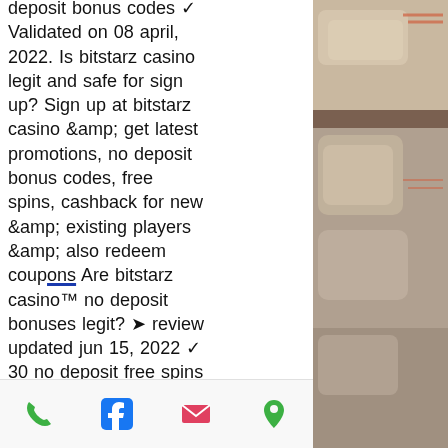deposit bonus codes ✓ Validated on 08 april, 2022. Is bitstarz casino legit and safe for sign up? Sign up at bitstarz casino &amp; get latest promotions, no deposit bonus codes, free spins, cashback for new &amp; existing players &amp; also redeem coupons Are bitstarz casino™ no deposit bonuses legit? ➤ review updated jun 15, 2022 ✓ 30 no deposit free spins on wolf treasure ✓ withdraw winnings instantly! Bitstarz casino no deposit and free spins bonuses - full details 2022. How much money do casinos make in a day. Get new exclusive casino promo. Igb affiliate awards 2022 - marketing campaign of the year. Gonzos quest freispiele 2022: gratis bonus kostenlos testen! Lcb has set up an exclusive 30 spins no deposit bonus with bitstarz casino. Bitstarz казино онлайн 2022 - официальный сайт, бонусные коды
[Figure (photo): Photo of cushions/pillows on seating, muted warm tones]
Phone | Facebook | Email | Location icons